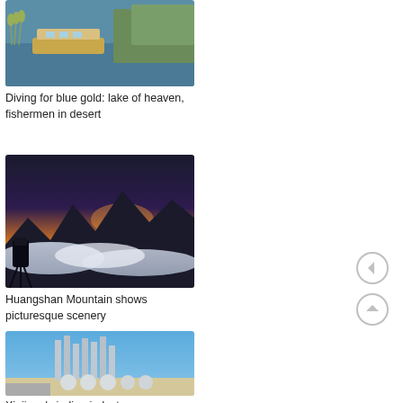[Figure (photo): Boat on a blue lake with vegetation]
Diving for blue gold: lake of heaven, fishermen in desert
[Figure (photo): Person photographing sunset over sea of clouds from Huangshan Mountain]
Huangshan Mountain shows picturesque scenery
[Figure (photo): Industrial facility with spherical tanks and towers in Xinjiang]
Xinjiang's indigo industry: a
[Figure (other): Left navigation arrow button]
[Figure (other): Home/up navigation arrow button]